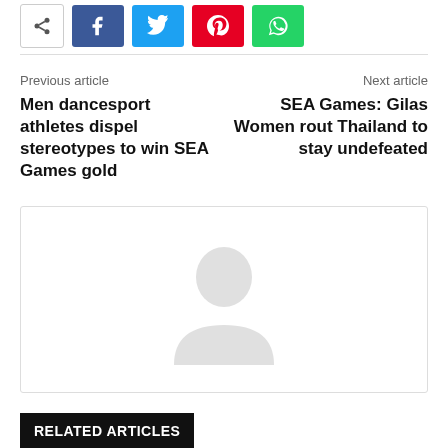[Figure (other): Social share buttons: share icon, Facebook, Twitter, Pinterest, WhatsApp]
Previous article
Men dancesport athletes dispel stereotypes to win SEA Games gold
Next article
SEA Games: Gilas Women rout Thailand to stay undefeated
[Figure (photo): Placeholder avatar/profile image with light grey silhouette on white background]
RELATED ARTICLES